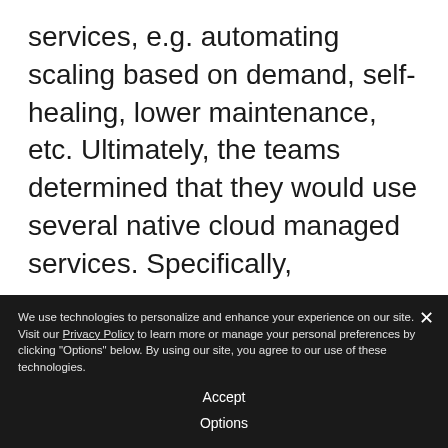services, e.g. automating scaling based on demand, self-healing, lower maintenance, etc. Ultimately, the teams determined that they would use several native cloud managed services. Specifically,
AWS ECR – for storing, running, and managing container images
We use technologies to personalize and enhance your experience on our site. Visit our Privacy Policy to learn more or manage your personal preferences by clicking "Options" below. By using our site, you agree to our use of these technologies.

Accept

Options